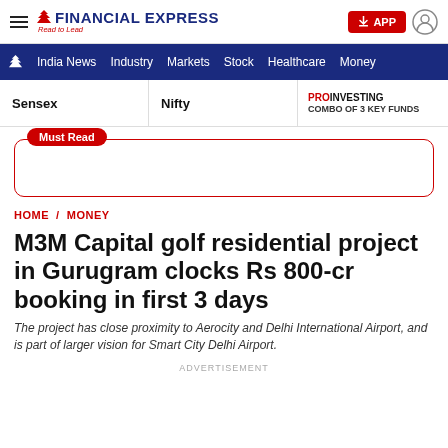FINANCIAL EXPRESS — Read to Lead
India News  Industry  Markets  Stock  Healthcare  Money
Sensex   Nifty   PROINVESTING COMBO OF 3 KEY FUNDS
Must Read
HOME / MONEY
M3M Capital golf residential project in Gurugram clocks Rs 800-cr booking in first 3 days
The project has close proximity to Aerocity and Delhi International Airport, and is part of larger vision for Smart City Delhi Airport.
ADVERTISEMENT